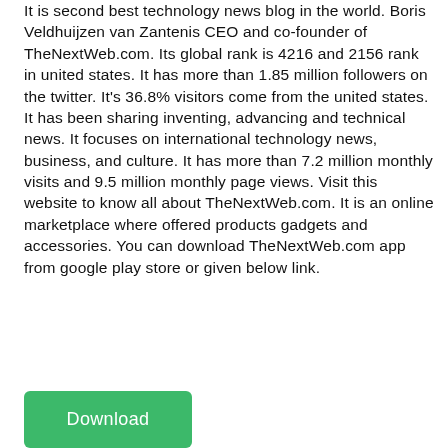It is second best technology news blog in the world. Boris Veldhuijzen van Zantenis CEO and co-founder of TheNextWeb.com. Its global rank is 4216 and 2156 rank in united states. It has more than 1.85 million followers on the twitter. It's 36.8% visitors come from the united states. It has been sharing inventing, advancing and technical news. It focuses on international technology news, business, and culture. It has more than 7.2 million monthly visits and 9.5 million monthly page views. Visit this website to know all about TheNextWeb.com. It is an online marketplace where offered products gadgets and accessories. You can download TheNextWeb.com app from google play store or given below link.
[Figure (other): Green Download button]